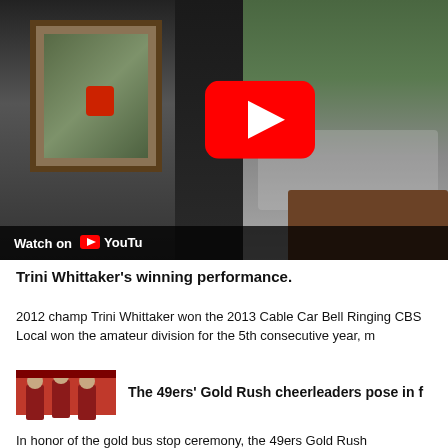[Figure (screenshot): YouTube video thumbnail showing a street scene with a person in dark clothing, a cable car window, and bystanders. A YouTube play button is overlaid in the center-right. A 'Watch on YouTube' bar appears at the bottom of the video frame.]
Trini Whittaker's winning performance.
2012 champ Trini Whittaker won the 2013 Cable Car Bell Ringing CBS Local won the amateur division for the 5th consecutive year, m
[Figure (photo): Photo of 49ers' Gold Rush cheerleaders posing in red and white uniforms with white boots.]
The 49ers' Gold Rush cheerleaders pose in f
In honor of the gold bus stop ceremony, the 49ers Gold Rush cheerleaders